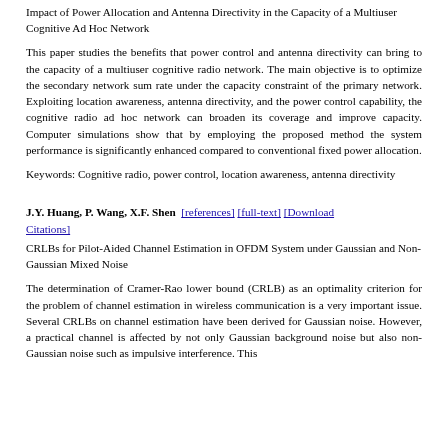Impact of Power Allocation and Antenna Directivity in the Capacity of a Multiuser Cognitive Ad Hoc Network
This paper studies the benefits that power control and antenna directivity can bring to the capacity of a multiuser cognitive radio network. The main objective is to optimize the secondary network sum rate under the capacity constraint of the primary network. Exploiting location awareness, antenna directivity, and the power control capability, the cognitive radio ad hoc network can broaden its coverage and improve capacity. Computer simulations show that by employing the proposed method the system performance is significantly enhanced compared to conventional fixed power allocation.
Keywords: Cognitive radio, power control, location awareness, antenna directivity
J.Y. Huang, P. Wang, X.F. Shen [references] [full-text] [Download Citations]
CRLBs for Pilot-Aided Channel Estimation in OFDM System under Gaussian and Non-Gaussian Mixed Noise
The determination of Cramer-Rao lower bound (CRLB) as an optimality criterion for the problem of channel estimation in wireless communication is a very important issue. Several CRLBs on channel estimation have been derived for Gaussian noise. However, a practical channel is affected by not only Gaussian background noise but also non-Gaussian noise such as impulsive interference. This paper derives the deterministic and stochastic CRLBs for Gaussian